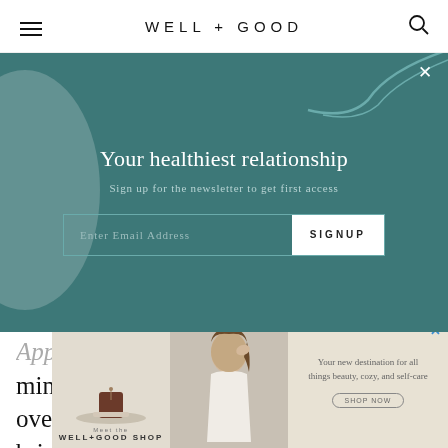WELL+GOOD
[Figure (screenshot): Well+Good website newsletter signup modal overlay with teal/dark cyan background, decorative grey blob on left, white swirl on top right, close X button, email signup form with 'Enter Email Address' input and 'SIGNUP' button]
Your healthiest relationship
Sign up for the newsletter to get first access
minimizes shine by helping with the overproduction of oil, and leaves skin brighter than ever.
[Figure (screenshot): Well+Good Shop advertisement banner showing product on plate, woman touching hair, and text 'Your new destination for all things beauty, cozy, and self-care' with shop now button]